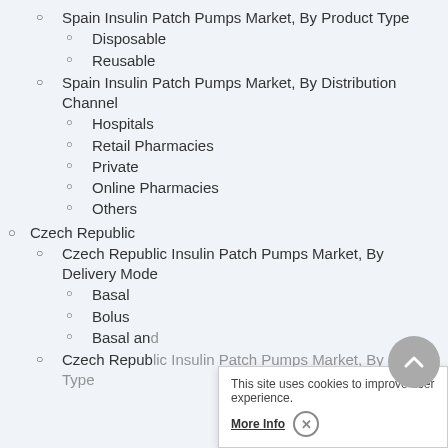Spain Insulin Patch Pumps Market, By Product Type
Disposable
Reusable
Spain Insulin Patch Pumps Market, By Distribution Channel
Hospitals
Retail Pharmacies
Private
Online Pharmacies
Others
Czech Republic
Czech Republic Insulin Patch Pumps Market, By Delivery Mode
Basal
Bolus
Basal and
Czech Republic Insulin Patch Pumps Market, By Product Type